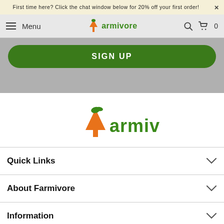First time here? Click the chat window below for 20% off your first order!
[Figure (screenshot): Farmivore website navigation bar with hamburger menu, Farmivore logo (carrot icon + green text), search icon, and cart icon with 0 count]
[Figure (screenshot): Green SIGN UP button on grey background]
[Figure (logo): Farmivore logo centered - orange carrot icon with green 'armivore' text]
Quick Links
About Farmivore
Information